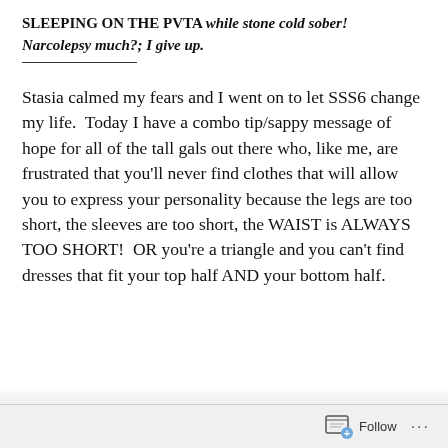SLEEPING ON THE PVTA while stone cold sober! Narcolepsy much?; I give up.
Stasia calmed my fears and I went on to let SSS6 change my life.  Today I have a combo tip/sappy message of hope for all of the tall gals out there who, like me, are frustrated that you'll never find clothes that will allow you to express your personality because the legs are too short, the sleeves are too short, the WAIST is ALWAYS TOO SHORT!  OR you're a triangle and you can't find dresses that fit your top half AND your bottom half.
Follow